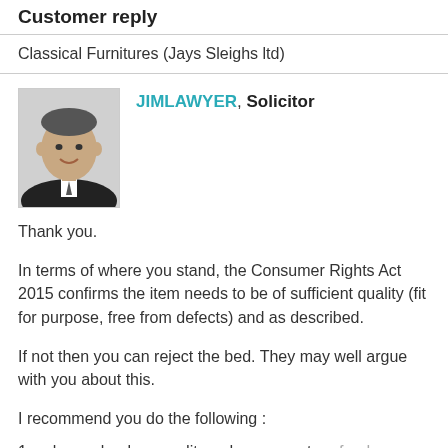Customer reply
Classical Furnitures (Jays Sleighs ltd)
[Figure (photo): Profile photo of a man in a suit, smiling, black and white]
JIMLAWYER, Solicitor
Thank you.
In terms of where you stand, the Consumer Rights Act 2015 confirms the item needs to be of sufficient quality (fit for purpose, free from defects) and as described.
If not then you can reject the bed. They may well argue with you about this.
I recommend you do the following :
1. ask your bank or credit card company to refund you - the bank could charge back the funds. Or if you paid by